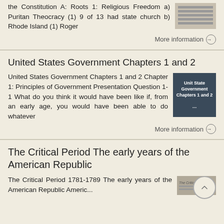the Constitution A: Roots 1: Religious Freedom a) Puritan Theocracy (1) 9 of 13 had state church b) Rhode Island (1) Roger
More information →
United States Government Chapters 1 and 2
United States Government Chapters 1 and 2 Chapter 1: Principles of Government Presentation Question 1-1 What do you think it would have been like if, from an early age, you would have been able to do whatever
More information →
The Critical Period The early years of the American Republic
The Critical Period 1781-1789 The early years of the American Republic Americ...